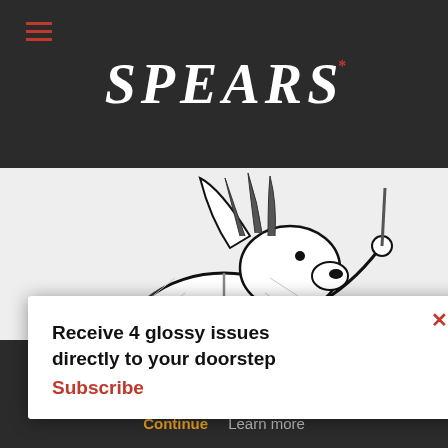SPEAR'S
[Figure (illustration): Black and white cartoon illustration of an anthropomorphic dog wearing a Union Jack shield with 'SPEAR'S' written on it and holding a flag/spear, depicted in a heraldic style]
Receive 4 glossy issues directly to your doorstep
Subscribe
continue using our all cookies on this
Continue  Learn more